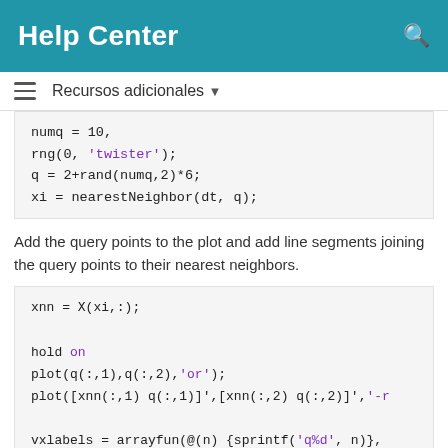Help Center
Recursos adicionales
[Figure (screenshot): Code block showing: numq = 10; rng(0,'twister'); q = 2+rand(numq,2)*6; xi = nearestNeighbor(dt, q);]
Add the query points to the plot and add line segments joining the query points to their nearest neighbors.
[Figure (screenshot): Code block showing: xnn = X(xi,:); hold on; plot(q(:,1),q(:,2),'or'); plot([xnn(:,1) q(:,1)]',[xnn(:,2) q(:,2)]','-r'); vxlabels = arrayfun(@(n) {sprintf('q%d', n)}, ...; Hpl = text(q(:,1)+0.2, q(:,2)+0.2, vxlabels, ...'bold', 'HorizontalAlignment','center', ...'BackgroundColor','none');]